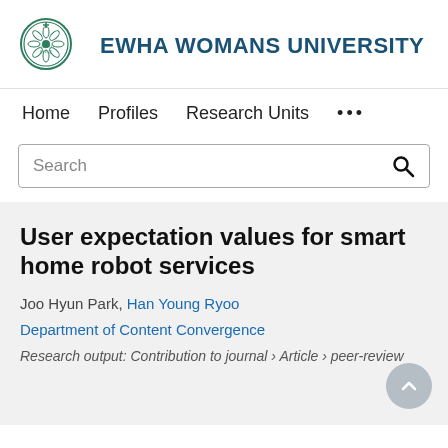[Figure (logo): Ewha Womans University circular seal logo in green and white]
EWHA WOMANS UNIVERSITY
Home   Profiles   Research Units   ...
Search
User expectation values for smart home robot services
Joo Hyun Park, Han Young Ryoo
Department of Content Convergence
Research output: Contribution to journal › Article › peer-review